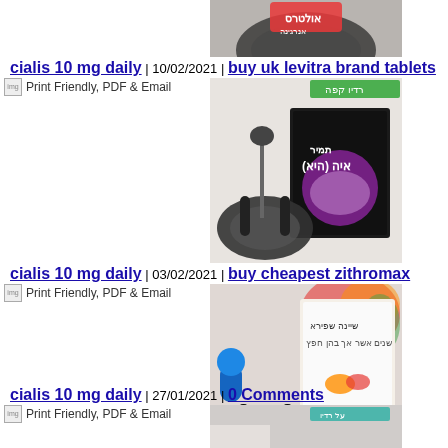[Figure (photo): Photo of headphones with Hebrew radio branding, top portion cut off]
cialis 10 mg daily | 10/02/2021 | buy uk levitra brand tablets
[Figure (photo): Broken image icon labeled Print Friendly, PDF & Email]
[Figure (photo): Photo of book with Hebrew text and headphones at radio studio]
cialis 10 mg daily | 03/02/2021 | buy cheapest zithromax
[Figure (photo): Broken image icon labeled Print Friendly, PDF & Email]
[Figure (photo): Photo of book with Hebrew text and headphones]
cialis 10 mg daily | 27/01/2021 | 0 Comments
[Figure (photo): Broken image icon labeled Print Friendly, PDF & Email]
[Figure (photo): Partial photo of radio studio setup]